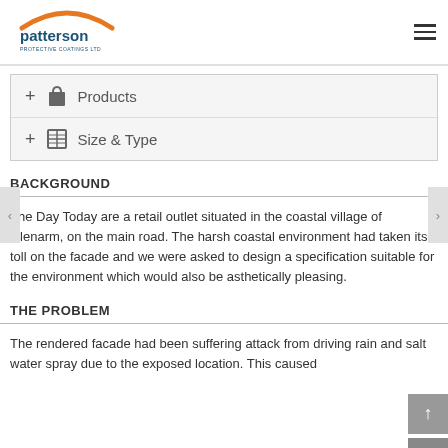Patterson Protective Coatings Ltd
+ Products
+ Size & Type
BACKGROUND
The Day Today are a retail outlet situated in the coastal village of Glenarm, on the main road. The harsh coastal environment had taken its toll on the facade and we were asked to design a specification suitable for the environment which would also be asthetically pleasing.
THE PROBLEM
The rendered facade had been suffering attack from driving rain and salt water spray due to the exposed location. This caused